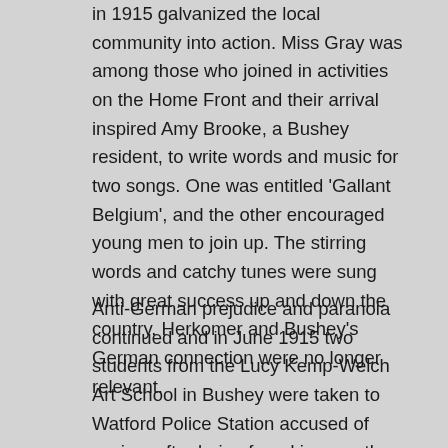in 1915 galvanized the local community into action. Miss Gray was among those who joined in activities on the Home Front and their arrival inspired Amy Brooke, a Bushey resident, to write words and music for two songs. One was entitled 'Gallant Belgium', and the other encouraged young men to join up. The stirring words and catchy tunes were sung with great success up and down the country. Herkomer and Bushey's German connection were no longer relevant.
Anti-German prejudice and paranoia continued and in June 1915 two students from the Lucy Kemp-Welch Art School in Bushey were taken to Watford Police Station accused of spying, after being found innocently painting near Watford Bridge. As yet Watford has no way of